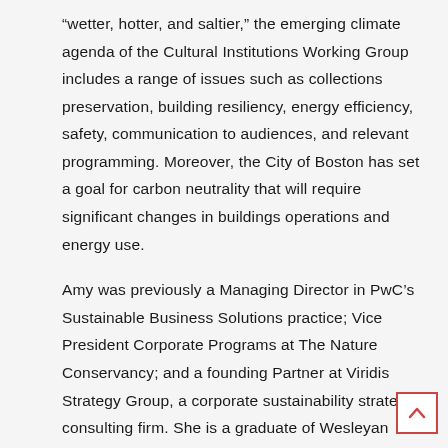“wetter, hotter, and saltier,” the emerging climate agenda of the Cultural Institutions Working Group includes a range of issues such as collections preservation, building resiliency, energy efficiency, safety, communication to audiences, and relevant programming. Moreover, the City of Boston has set a goal for carbon neutrality that will require significant changes in buildings operations and energy use.
Amy was previously a Managing Director in PwC’s Sustainable Business Solutions practice; Vice President Corporate Programs at The Nature Conservancy; and a founding Partner at Viridis Strategy Group, a corporate sustainability strategy consulting firm. She is a graduate of Wesleyan University and Harvard